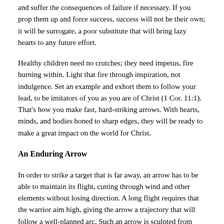and suffer the consequences of failure if necessary. If you prop them up and force success, success will not be their own; it will be surrogate, a poor substitute that will bring lazy hearts to any future effort.
Healthy children need no crutches; they need impetus, fire burning within. Light that fire through inspiration, not indulgence. Set an example and exhort them to follow your lead, to be imitators of you as you are of Christ (1 Cor. 11:1). That's how you make fast, hard-striking arrows. With hearts, minds, and bodies honed to sharp edges, they will be ready to make a great impact on the world for Christ.
An Enduring Arrow
In order to strike a target that is far away, an arrow has to be able to maintain its flight, cutting through wind and other elements without losing direction. A long flight requires that the warrior aim high, giving the arrow a trajectory that will follow a well-planned arc. Such an arrow is sculpted from hard wood, tacked with stiff feathering, and constructed with a well-balanced plan.
Sometimes life is difficult, and serving God requires weathering storms that buffet even straight, accurate arrows. In many pursuits,